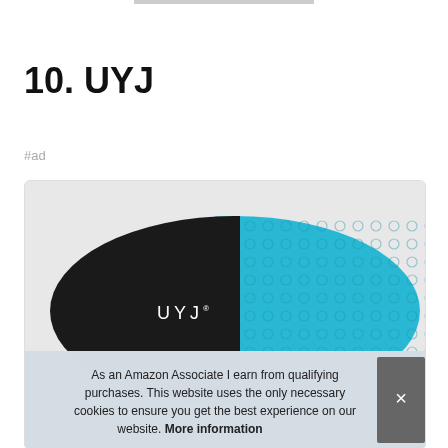10. UYJ
#ad
[Figure (photo): Product photo of a UYJ seat cushion, showing a black cushion cover with the UYJ logo and a teal/cyan gel layer visible on the right side.]
As an Amazon Associate I earn from qualifying purchases. This website uses the only necessary cookies to ensure you get the best experience on our website. More information